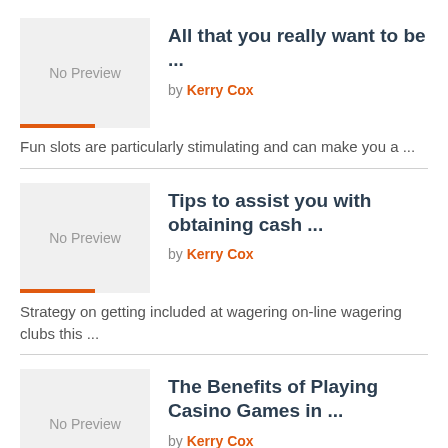All that you really want to be ...
by Kerry Cox
Fun slots are particularly stimulating and can make you a ...
Tips to assist you with obtaining cash ...
by Kerry Cox
Strategy on getting included at wagering on-line wagering clubs this ...
The Benefits of Playing Casino Games in ...
by Kerry Cox
Online casino games have genuinely obtained